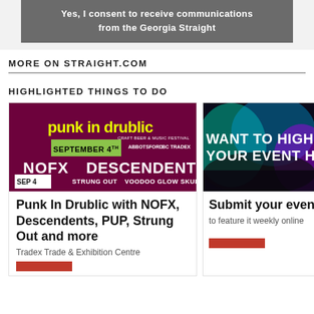Yes, I consent to receive communications from the Georgia Straight
MORE ON STRAIGHT.COM
HIGHLIGHTED THINGS TO DO
[Figure (photo): Punk In Drublic craft beer & music festival poster featuring NOFX, Descendents, PUP, Strung Out, Voodoo Glow Skulls. September 4th, Abbotsford BC Tradex. Date badge: SEP 4]
Punk In Drublic with NOFX, Descendents, PUP, Strung Out and more
Tradex Trade & Exhibition Centre
[Figure (photo): Concert crowd with colorful lights, text: WANT TO HIGH YOUR EVENT H]
Submit your even
to feature it weekly online